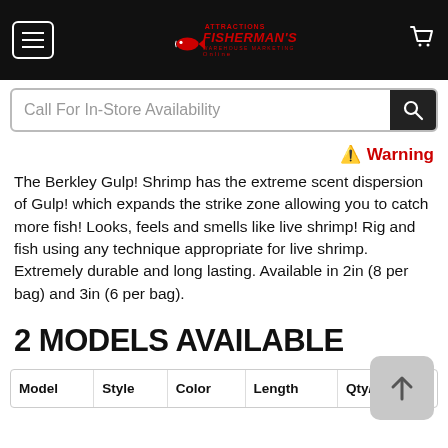Fisherman's Warehouse Online — navigation header with menu button, logo, and cart icon
Call For In-Store Availability
⚠ Warning
The Berkley Gulp! Shrimp has the extreme scent dispersion of Gulp! which expands the strike zone allowing you to catch more fish! Looks, feels and smells like live shrimp! Rig and fish using any technique appropriate for live shrimp. Extremely durable and long lasting. Available in 2in (8 per bag) and 3in (6 per bag).
2 MODELS AVAILABLE
| Model | Style | Color | Length | Qty/pkg |
| --- | --- | --- | --- | --- |